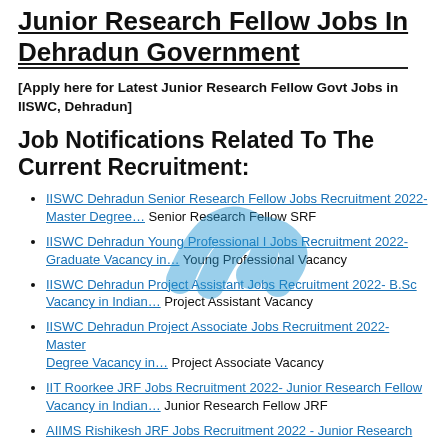Junior Research Fellow Jobs In Dehradun Government
[Apply here for Latest Junior Research Fellow Govt Jobs in IISWC, Dehradun]
Job Notifications Related To The Current Recruitment:
IISWC Dehradun Senior Research Fellow Jobs Recruitment 2022- Master Degree… Senior Research Fellow SRF
IISWC Dehradun Young Professional I Jobs Recruitment 2022- Graduate Vacancy in… Young Professional Vacancy
IISWC Dehradun Project Assistant Jobs Recruitment 2022- B.Sc Vacancy in Indian… Project Assistant Vacancy
IISWC Dehradun Project Associate Jobs Recruitment 2022- Master Degree Vacancy in… Project Associate Vacancy
IIT Roorkee JRF Jobs Recruitment 2022- Junior Research Fellow Vacancy in Indian… Junior Research Fellow JRF
AIIMS Rishikesh JRF Jobs Recruitment 2022 - Junior Research